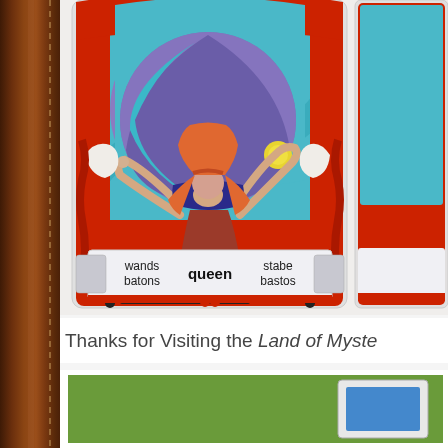[Figure (illustration): Tarot card showing 'queen of wands/batons/stabe/bastos' — colorful psychedelic illustration with a woman with orange hair raising her arms, large teal/purple spheres, red decorative border. Label panel at bottom reads 'wands batons | queen | stabe bastos'. Partially cropped second card visible at right edge.]
Thanks for Visiting the Land of Myste
[Figure (photo): Bottom portion of another image with green background, partially visible.]